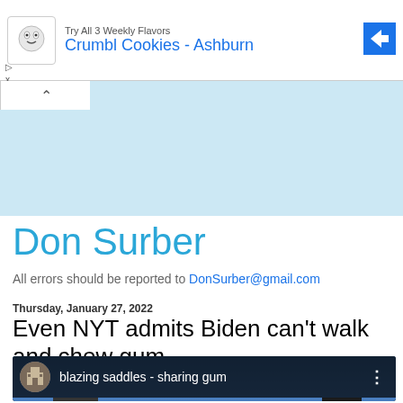[Figure (screenshot): Advertisement banner for Crumbl Cookies - Ashburn with cookie logo and navigation arrow icon]
Don Surber
All errors should be reported to DonSurber@gmail.com
Thursday, January 27, 2022
Even NYT admits Biden can't walk and chew gum
[Figure (screenshot): YouTube video thumbnail titled 'blazing saddles - sharing gum' showing two men, one with brown hair]